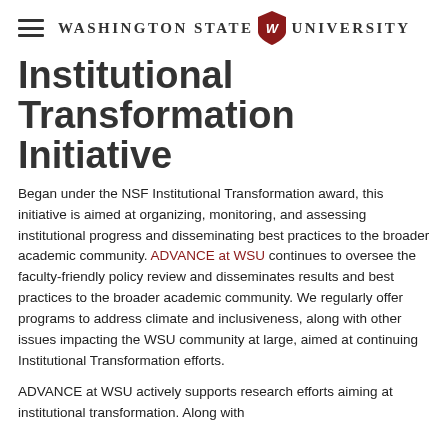Washington State University
Institutional Transformation Initiative
Began under the NSF Institutional Transformation award, this initiative is aimed at organizing, monitoring, and assessing institutional progress and disseminating best practices to the broader academic community. ADVANCE at WSU continues to oversee the faculty-friendly policy review and disseminates results and best practices to the broader academic community. We regularly offer programs to address climate and inclusiveness, along with other issues impacting the WSU community at large, aimed at continuing Institutional Transformation efforts.
ADVANCE at WSU actively supports research efforts aiming at institutional transformation. Along with...